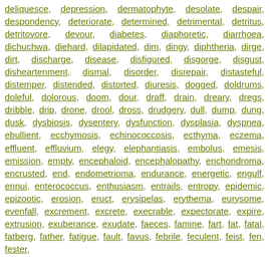deliquesce, depression, dermatophyte, desolate, despair, despondency, deteriorate, determined, detrimental, detritus, detritovore, devour, diabetes, diaphoretic, diarrhoea, dichuchwa, diehard, dilapidated, dim, dingy, diphtheria, dirge, dirt, discharge, disease, disfigured, disgorge, disgust, disheartenment, dismal, disorder, disrepair, distasteful, distemper, distended, distorted, diuresis, dogged, doldrums, doleful, dolorous, doom, dour, draff, drain, dreary, dregs, dribble, drip, drone, drool, dross, drudgery, dull, dump, dung, dusk, dysbiosis, dysentery, dysfunction, dysplasia, dyspnea, ebullient, ecchymosis, echinococcosis, ecthyma, eczema, effluent, effluvium, elegy, elephantiasis, embolus, emesis, emission, empty, encephaloid, encephalopathy, enchondroma, encrusted, end, endometrioma, endurance, energetic, engulf, ennui, enterococcus, enthusiasm, entrails, entropy, epidemic, epizootic, erosion, eruct, erysipelas, erythema, eurysome, evenfall, excrement, excrete, execrable, expectorate, expire, extrusion, exuberance, exudate, faeces, famine, fart, fat, fatal, fatberg, father, fatigue, fault, favus, febrile, feculent, feist, fen, fester,